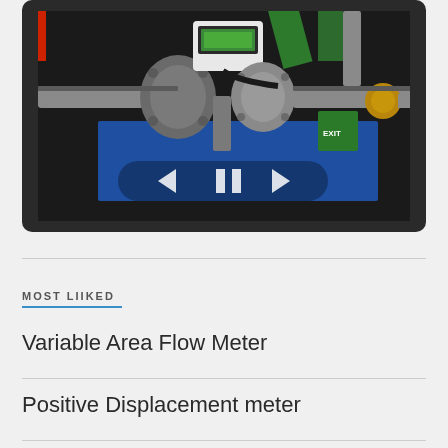[Figure (photo): Industrial flow meter installation showing metal pipe flanges, a white digital display unit mounted on top, pipe fittings with blue housing, and various metal tubes and brass fittings. Video player controls (back, pause, forward arrows) are visible overlaid on the image.]
MOST LIIKED
Variable Area Flow Meter
Positive Displacement meter